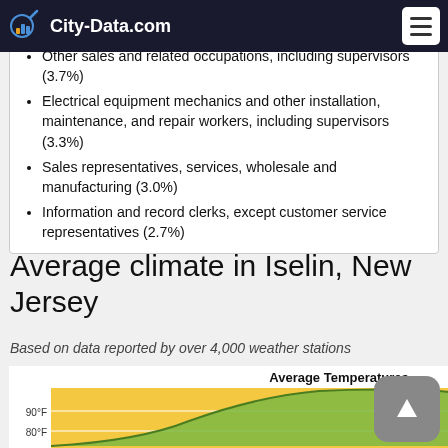City-Data.com
farm managers (4.1%)
Other sales and related occupations, including supervisors (3.7%)
Electrical equipment mechanics and other installation, maintenance, and repair workers, including supervisors (3.3%)
Sales representatives, services, wholesale and manufacturing (3.0%)
Information and record clerks, except customer service representatives (2.7%)
Average climate in Iselin, New Jersey
Based on data reported by over 4,000 weather stations
[Figure (area-chart): Area chart showing average daily high and low temperatures by month for Iselin, New Jersey. Y-axis shows 80°F and 90°F labels visible. Legend shows Daily high.]